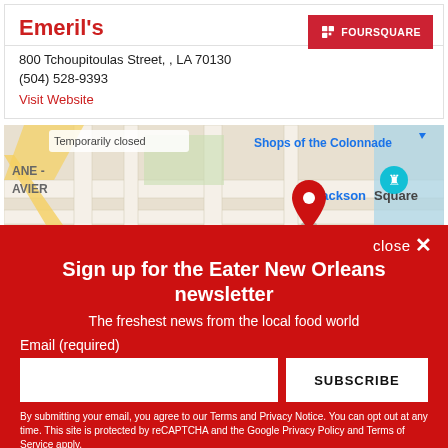Emeril's
800 Tchoupitoulas Street, , LA 70130
(504) 528-9393
Visit Website
[Figure (map): Google Maps screenshot showing location near Jackson Square, New Orleans, with a red map pin. Shows Shops of the Colonnade, Jackson Square labels, and a 'Temporarily closed' marker.]
close ✕
Sign up for the Eater New Orleans newsletter
The freshest news from the local food world
Email (required)
SUBSCRIBE
By submitting your email, you agree to our Terms and Privacy Notice. You can opt out at any time. This site is protected by reCAPTCHA and the Google Privacy Policy and Terms of Service apply.